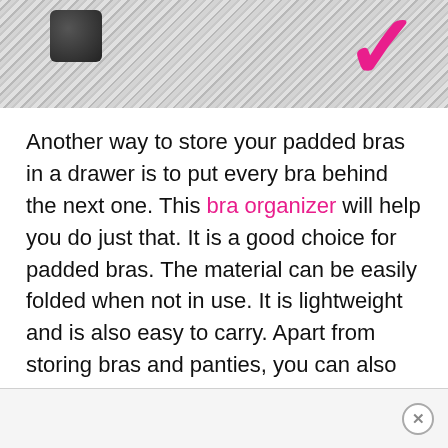[Figure (photo): Close-up photo of a grey herringbone fabric with a dark plastic buckle/clasp and a pink checkmark or logo visible in the upper right corner]
Another way to store your padded bras in a drawer is to put every bra behind the next one. This bra organizer will help you do just that. It is a good choice for padded bras. The material can be easily folded when not in use. It is lightweight and is also easy to carry. Apart from storing bras and panties, you can also store socks and ties in it.
[Figure (other): Advertisement bar at the bottom of the page with a close (X) button on the right side]